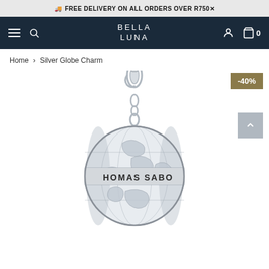🚚 FREE DELIVERY ON ALL ORDERS OVER R750
[Figure (screenshot): Bella Luna e-commerce website navigation bar with hamburger menu, search icon, BELLA LUNA logo, account icon, and cart icon showing 0 items]
Home > Silver Globe Charm
[Figure (photo): Silver Globe Charm jewelry piece by Thomas Sabo showing a silver globe pendant with lobster clasp, engraved with world map and 'THOMAS SABO' text around the equator]
-40%